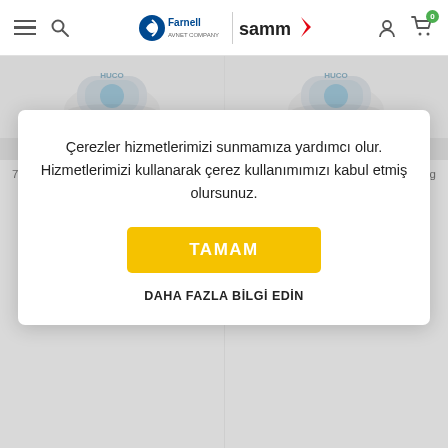Farnell | samm — navigation header with hamburger menu, search, logo, user icon, cart
[Figure (screenshot): Two product images of HUCO Oldham Hub couplings partially visible behind cookie consent overlay]
Çerezler hizmetlerimizi sunmamıza yardımcı olur. Hizmetlerimizi kullanarak çerez kullanımımızı kabul etmiş olursunuz.
TAMAM
DAHA FAZLA BİLGİ EDİN
7075625 HUCO 232P19.24.F Coupling Oldham Hub
₺ 654,9581 +KDV
7075613 HUCO 232P19.22.F Coupling Oldham Hub
₺ 654,9581 +KDV